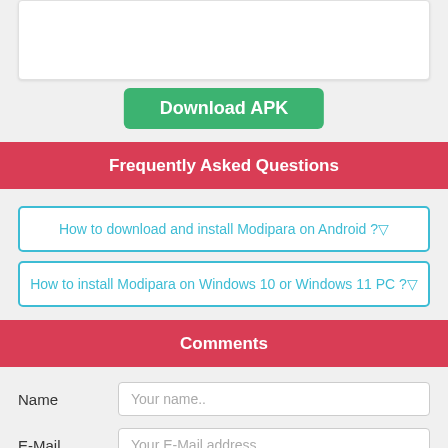[Figure (screenshot): White rounded box (partial, top of page)]
Download APK
Frequently Asked Questions
How to download and install Modipara on Android ?▽
How to install Modipara on Windows 10 or Windows 11 PC ?▽
Comments
Name
Your name..
E-Mail
Your E-Mail address..
Comments
Write something..